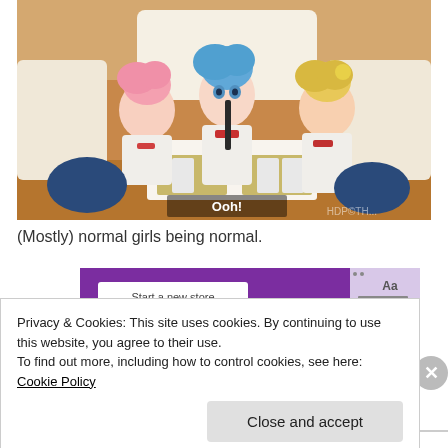[Figure (screenshot): Anime screenshot showing three girls in school uniforms sitting at a restaurant booth table with trays and drinks. Subtitle text 'Ooh!' visible at bottom center of image.]
(Mostly) normal girls being normal.
[Figure (screenshot): Partial screenshot of a website with purple header and 'Start a new store' button area visible, partially obscured by cookie banner.]
Privacy & Cookies: This site uses cookies. By continuing to use this website, you agree to their use.
To find out more, including how to control cookies, see here: Cookie Policy
Close and accept